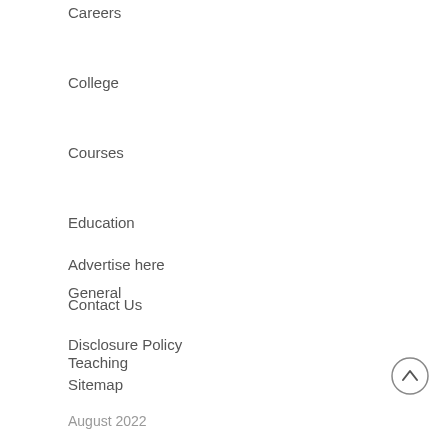Careers
College
Courses
Education
General
Teaching
Advertise here
Contact Us
Disclosure Policy
Sitemap
August 2022
[Figure (illustration): Back to top arrow icon - circle with upward chevron]